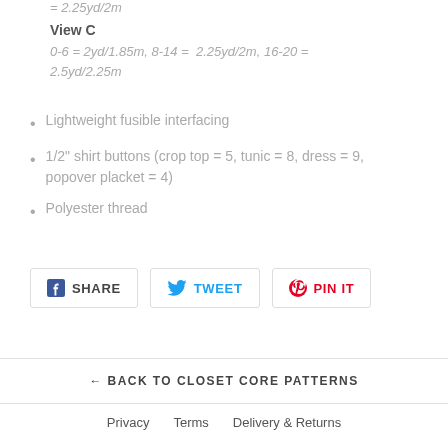= 2.25yd/2m
View C
0-6 = 2yd/1.85m, 8-14 = 2.25yd/2m, 16-20 = 2.5yd/2.25m
Lightweight fusible interfacing
1/2" shirt buttons (crop top = 5, tunic = 8, dress = 9, popover placket = 4)
Polyester thread
SHARE   TWEET   PIN IT
← BACK TO CLOSET CORE PATTERNS
Privacy   Terms   Delivery & Returns